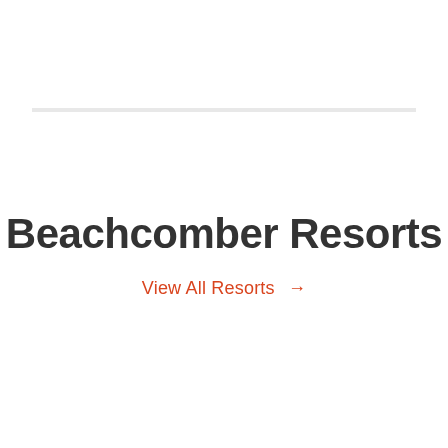Beachcomber Resorts
View All Resorts →